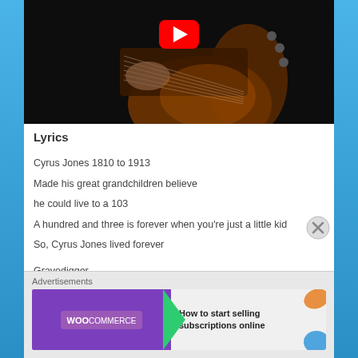[Figure (screenshot): YouTube video thumbnail showing a person playing an acoustic guitar on a dark background, with a red YouTube play button overlay at the top center]
Lyrics
Cyrus Jones 1810 to 1913
Made his great grandchildren believe
he could live to a 103
A hundred and three is forever when you're just a little kid
So, Cyrus Jones lived forever
Gravedigger
[Figure (screenshot): WooCommerce advertisement banner: purple left section with WooCommerce logo and green arrow, right section on light background reading 'How to start selling subscriptions online']